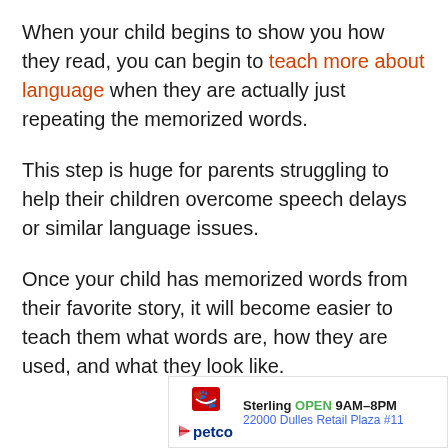When your child begins to show you how they read, you can begin to teach more about language when they are actually just repeating the memorized words.
This step is huge for parents struggling to help their children overcome speech delays or similar language issues.
Once your child has memorized words from their favorite story, it will become easier to teach them what words are, how they are used, and what they look like.
[Figure (other): Petco advertisement banner showing store name Sterling, open hours 9AM-8PM, address 22000 Dulles Retail Plaza #11, with Petco logo]